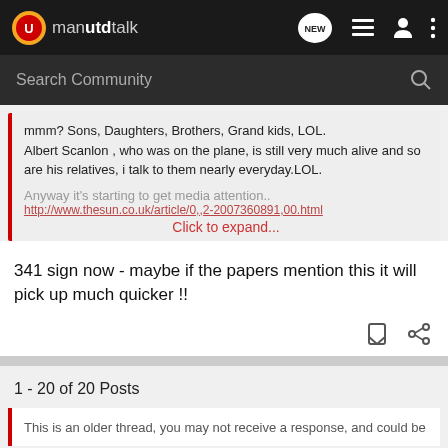manutdtalk
Search Community
mmm? Sons, Daughters, Brothers, Grand kids, LOL.
Albert Scanlon , who was on the plane, is still very much alive and so are his relatives, i talk to them nearly everyday.LOL.

Anyway it's starting to get media attention..
http://www.thesun.co.uk/article/0,,2-2007360891,00.html
Click to expand...
341 sign now - maybe if the papers mention this it will pick up much quicker !!
1 - 20 of 20 Posts
This is an older thread, you may not receive a response, and could be